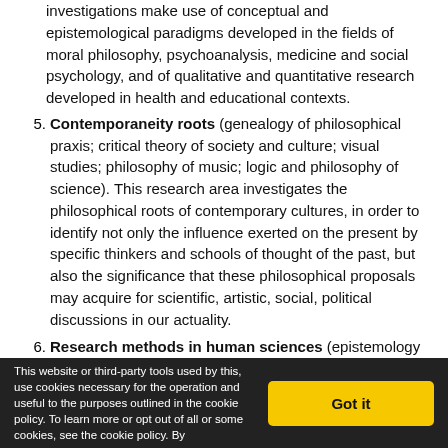investigations make use of conceptual and epistemological paradigms developed in the fields of moral philosophy, psychoanalysis, medicine and social psychology, and of qualitative and quantitative research developed in health and educational contexts.
5. Contemporaneity roots (genealogy of philosophical praxis; critical theory of society and culture; visual studies; philosophy of music; logic and philosophy of science). This research area investigates the philosophical roots of contemporary cultures, in order to identify not only the influence exerted on the present by specific thinkers and schools of thought of the past, but also the significance that these philosophical proposals may acquire for scientific, artistic, social, political discussions in our actuality.
6. Research methods in human sciences (epistemology and qualitative research methods, quantitative research…
This website or third-party tools used by this, use cookies necessary for the operation and useful to the purposes outlined in the cookie policy. To learn more or opt out of all or some cookies, see the cookie policy. By